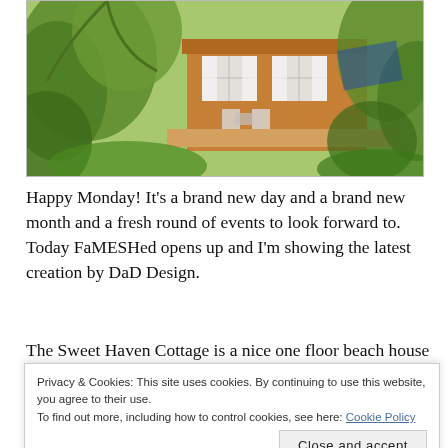[Figure (photo): Tropical beach cottage with wooden exterior, lush green palm trees and foliage, white curtains, outdoor chairs and table on a deck]
Happy Monday! It's a brand new day and a brand new month and a fresh round of events to look forward to.  Today FaMESHed opens up and I'm showing the latest creation by DaD Design.
The Sweet Haven Cottage is a nice one floor beach house with a land impact of 56 that has a separate
Privacy & Cookies: This site uses cookies. By continuing to use this website, you agree to their use.
To find out more, including how to control cookies, see here: Cookie Policy
couple poses.